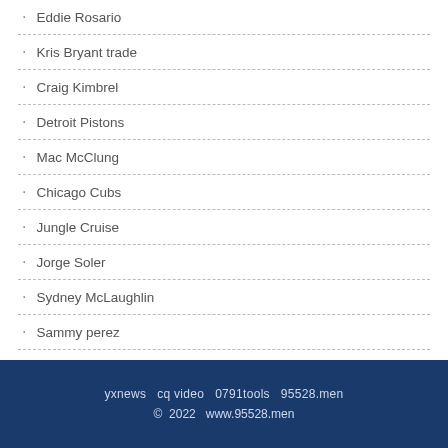Eddie Rosario
Kris Bryant trade
Craig Kimbrel
Detroit Pistons
Mac McClung
Chicago Cubs
Jungle Cruise
Jorge Soler
Sydney McLaughlin
Sammy perez
yxnews  cq video  0791tools  95528.men
© 2022  www.95528.men